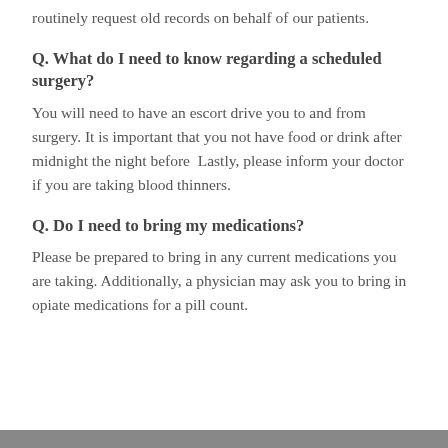routinely request old records on behalf of our patients.
Q. What do I need to know regarding a scheduled surgery?
You will need to have an escort drive you to and from surgery. It is important that you not have food or drink after midnight the night before  Lastly, please inform your doctor if you are taking blood thinners.
Q. Do I need to bring my medications?
Please be prepared to bring in any current medications you are taking. Additionally, a physician may ask you to bring in opiate medications for a pill count.